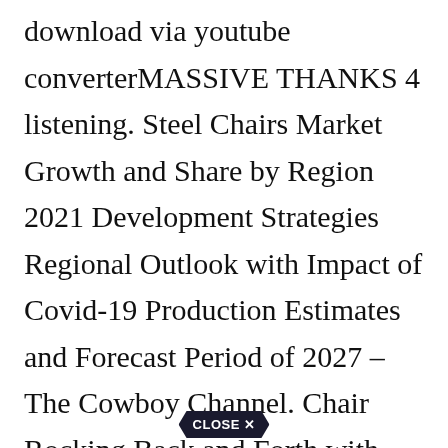download via youtube converterMASSIVE THANKS 4 listening. Steel Chairs Market Growth and Share by Region 2021 Development Strategies Regional Outlook with Impact of Covid-19 Production Estimates and Forecast Period of 2027 – The Cowboy Channel. Chair Rocking Back and Forth with Squeaks. Plz subscribe for moreand thanks 4 listening. Roman Reigns multiple steel chair strikes have no effect on Braun Strowman – Ambulance Match.